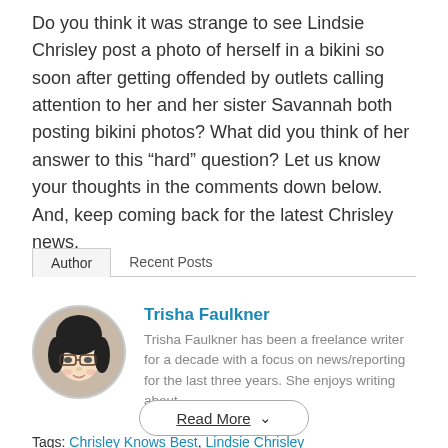Do you think it was strange to see Lindsie Chrisley post a photo of herself in a bikini so soon after getting offended by outlets calling attention to her and her sister Savannah both posting bikini photos? What did you think of her answer to this “hard” question? Let us know your thoughts in the comments down below. And, keep coming back for the latest Chrisley news.
Author   Recent Posts
[Figure (photo): Circular headshot photo of Trisha Faulkner, a woman with dark hair and glasses]
Trisha Faulkner
Trisha Faulkner has been a freelance writer for a decade with a focus on news/reporting for the last three years. She enjoys writing about
Read More ∨
Tags: Chrisley Knows Best, Lindsie Chrisley